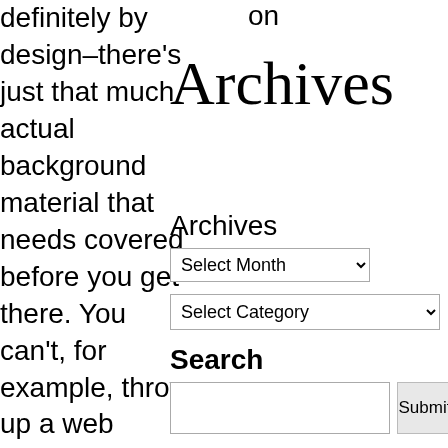on
definitely by design–there’s just that much actual background material that needs covered before you get there. You can’t, for example, throw up a web server on a Linux machine if you don’t know how to make Linux do your tellings. Well,
Archives
Archives
Select Month (dropdown)
Select Category (dropdown)
Search
Search input and Submit button